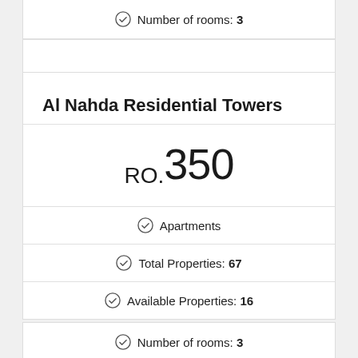Number of rooms: 3
Al Nahda Residential Towers
RO. 350
Apartments
Total Properties: 67
Available Properties: 16
Number of rooms: 3